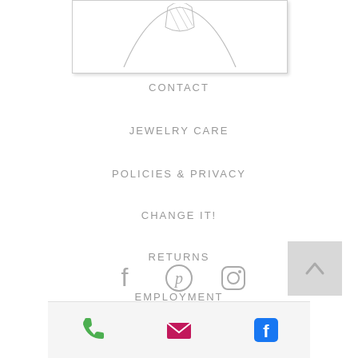[Figure (illustration): Partial jewelry illustration — line drawing of a necklace/pendant, cropped at top, shown in a bordered box with shadow]
CONTACT
JEWELRY CARE
POLICIES & PRIVACY
CHANGE IT!
RETURNS
EMPLOYMENT
[Figure (logo): Social media icons row: Facebook, Pinterest, Instagram — gray color]
[Figure (infographic): Bottom action bar with green phone icon, pink/red email envelope icon, blue Facebook icon]
[Figure (other): Back-to-top button: light gray square with upward chevron arrow]